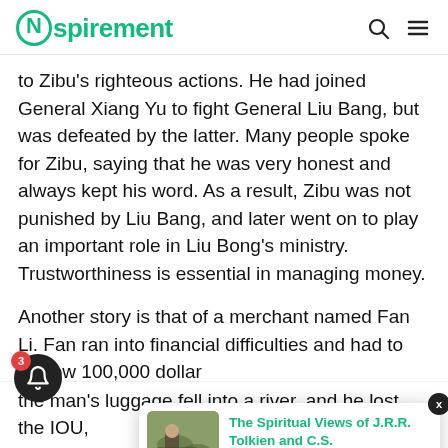Nspirement
to Zibu's righteous actions. He had joined General Xiang Yu to fight General Liu Bang, but was defeated by the latter. Many people spoke for Zibu, saying that he was very honest and always kept his word. As a result, Zibu was not punished by Liu Bang, and later went on to play an important role in Liu Bong's ministry. Trustworthiness is essential in managing money.
Another story is that of a merchant named Fan Li. Fan ran into financial difficulties and had to borrow 100,000 dollar... wealthy ma... ) to ask F...
[Figure (screenshot): Overlay notification card showing article preview: 'The Spiritual Views of J.R.R. Tolkien and C.S.' with timestamp '13 hours ago' and a thumbnail of a man sitting on grass]
the man's luggage fell into a river, and he lost the IOU,